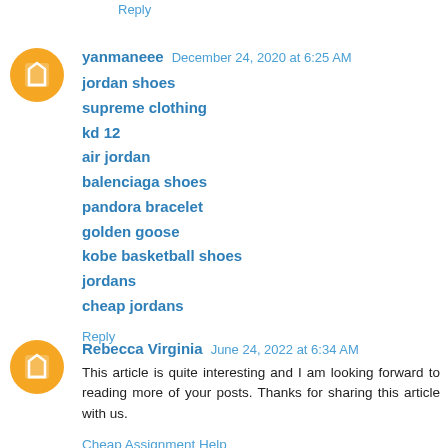Reply
yanmaneee  December 24, 2020 at 6:25 AM
jordan shoes
supreme clothing
kd 12
air jordan
balenciaga shoes
pandora bracelet
golden goose
kobe basketball shoes
jordans
cheap jordans
Reply
Rebecca Virginia  June 24, 2022 at 6:34 AM
This article is quite interesting and I am looking forward to reading more of your posts. Thanks for sharing this article with us.
Cheap Assignment Help